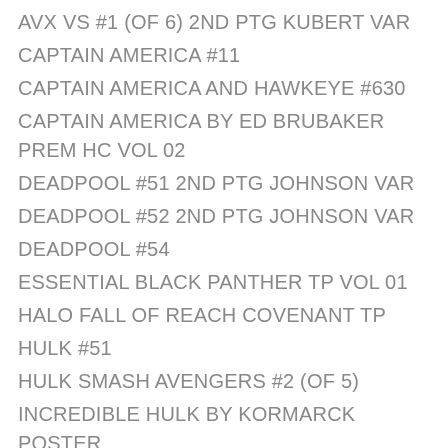AVX VS #1 (OF 6) 2ND PTG KUBERT VAR
CAPTAIN AMERICA #11
CAPTAIN AMERICA AND HAWKEYE #630
CAPTAIN AMERICA BY ED BRUBAKER PREM HC VOL 02
DEADPOOL #51 2ND PTG JOHNSON VAR
DEADPOOL #52 2ND PTG JOHNSON VAR
DEADPOOL #54
ESSENTIAL BLACK PANTHER TP VOL 01
HALO FALL OF REACH COVENANT TP
HULK #51
HULK SMASH AVENGERS #2 (OF 5)
INCREDIBLE HULK BY KORMARCK POSTER
JOURNEY INTO MYSTERY #637 EXILED
MAGNETO NOT A HERO TP
MARVEL UNIVERSE AVENGERS EARTHS HEROES #2